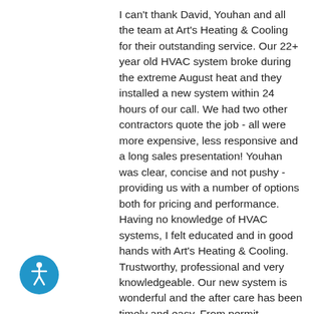I can't thank David, Youhan and all the team at Art's Heating & Cooling for their outstanding service. Our 22+ year old HVAC system broke during the extreme August heat and they installed a new system within 24 hours of our call. We had two other contractors quote the job - all were more expensive, less responsive and a long sales presentation! Youhan was clear, concise and not pushy - providing us with a number of options both for pricing and performance. Having no knowledge of HVAC systems, I felt educated and in good hands with Art's Heating & Cooling. Trustworthy, professional and very knowledgeable. Our new system is wonderful and the after care has been timely and easy. From permit application to Title 24 inspection, Art's Heating & Cooling co-
[Figure (other): Accessibility icon button — blue circle with white human figure (wheelchair accessible person icon)]